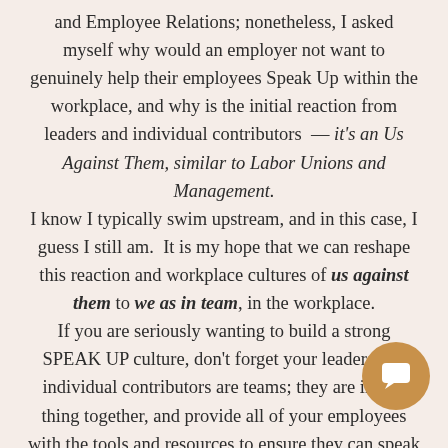and Employee Relations; nonetheless, I asked myself why would an employer not want to genuinely help their employees Speak Up within the workplace, and why is the initial reaction from leaders and individual contributors  —  it's an Us Against Them, similar to Labor Unions and Management.
I know I typically swim upstream, and in this case, I guess I still am.  It is my hope that we can reshape this reaction and workplace cultures of us against them to we as in team, in the workplace.
If you are seriously wanting to build a strong SPEAK UP culture, don't forget your leaders and individual contributors are teams; they are in this thing together, and provide all of your employees with the tools and resources to ensure they can speak up
[Figure (illustration): A golden/tan circular chat bubble icon in the bottom-right corner]